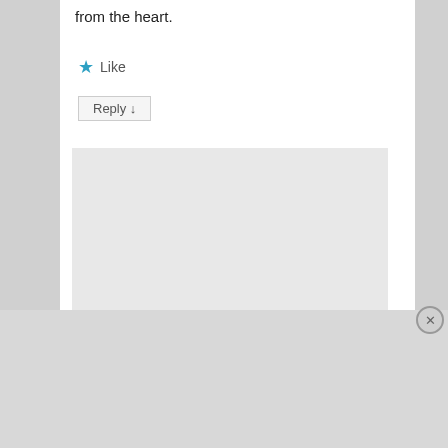from the heart.
★ Like
Reply ↓
merlinspielen on 2012-12-12 at 22:26 said:
Thank you Lynn for reading and leaving your kind comment. Glad my little moment of being
Advertisements
[Figure (infographic): DuckDuckGo advertisement banner with orange background. Text reads: Search, browse, and email with more privacy. All in One Free App. Shows a phone with DuckDuckGo logo.]